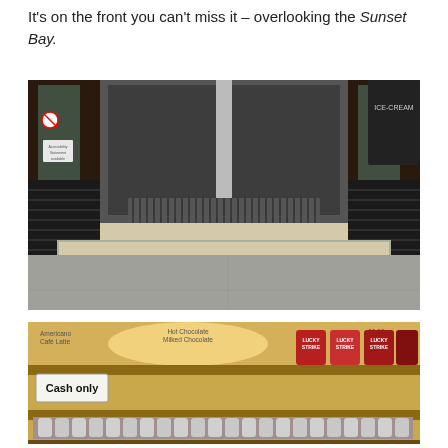It's on the front you can't miss it – overlooking the Sunset Bay.
[Figure (photo): Entrance of a building showing glass revolving/swing doors, steps with a mat, and a large stone/concrete threshold area on a grey pavement. A no-smoking sign and a chalkboard menu are visible on the right.]
[Figure (photo): Interior cafe/bar counter with a menu board overhead listing items and prices, cans of a branded drink (appears to be a beer brand), wooden shelving with a 'Cash only' sign, and a row of stainless steel condiment/milk jugs on the shelf below.]